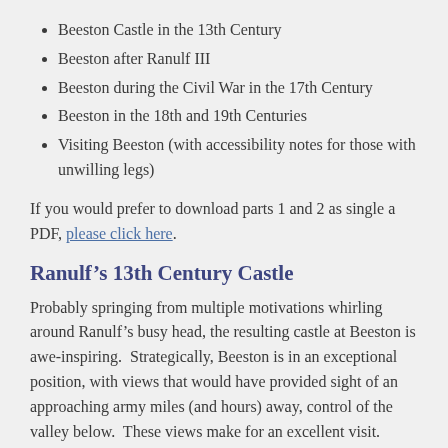Beeston Castle in the 13th Century
Beeston after Ranulf III
Beeston during the Civil War in the 17th Century
Beeston in the 18th and 19th Centuries
Visiting Beeston (with accessibility notes for those with unwilling legs)
If you would prefer to download parts 1 and 2 as single a PDF, please click here.
Ranulf’s 13th Century Castle
Probably springing from multiple motivations whirling around Ranulf’s busy head, the resulting castle at Beeston is awe-inspiring.  Strategically, Beeston is in an exceptional position, with views that would have provided sight of an approaching army miles (and hours) away, control of the valley below.  These views make for an excellent visit.